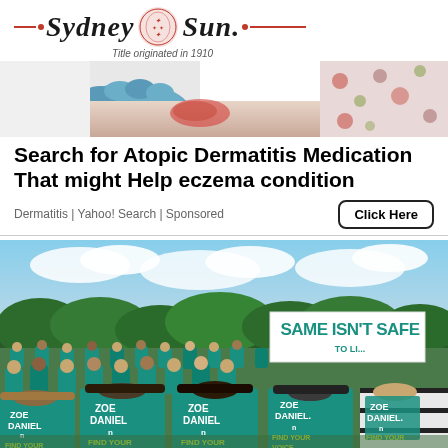Sydney Sun — Title originated in 1910
[Figure (photo): Close-up photo of a medical professional in blue gloves examining a skin condition on a patient's arm, patient wearing floral clothing]
Search for Atopic Dermatitis Medication That might Help eczema condition
Dermatitis | Yahoo! Search | Sponsored
[Figure (photo): Outdoor rally photo showing a large crowd of people seated on grass wearing teal/green t-shirts that read 'ZOE DANIEL - FIND YOUR VOICE'. In the background is a large banner reading 'SAME ISN'T SAFE'. The event appears to be a political rally on a sunny day with trees and blue sky in the background.]